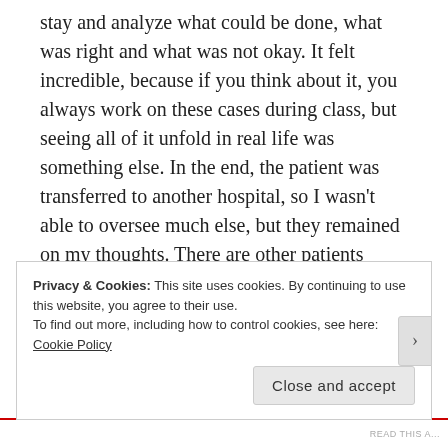stay and analyze what could be done, what was right and what was not okay. It felt incredible, because if you think about it, you always work on these cases during class, but seeing all of it unfold in real life was something else. In the end, the patient was transferred to another hospital, so I wasn't able to oversee much else, but they remained on my thoughts. There are other patients whose names will be always on my mind as I'll forever wonder if their health improved.
I believe I enjoyed this practice more because it was
Privacy & Cookies: This site uses cookies. By continuing to use this website, you agree to their use.
To find out more, including how to control cookies, see here: Cookie Policy